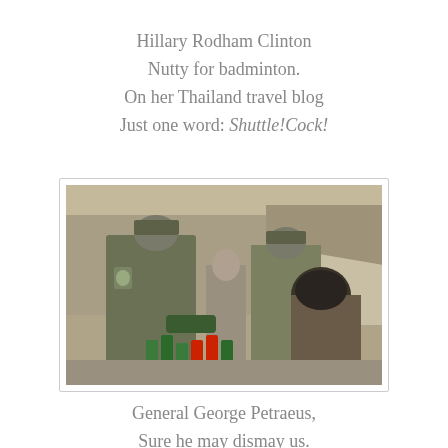Hillary Rodham Clinton
Nutty for badminton.
On her Thailand travel blog
Just one word: Shuttle!Cock!
[Figure (photo): Two US military soldiers in camouflage uniforms and caps, one bending forward handing or receiving items from a local woman wearing a dark headscarf, with another soldier and civilians visible in the background. Beverages including Coca-Cola bottles visible in the foreground.]
General George Petraeus,
Sure he may dismay us.
But not like Party B,